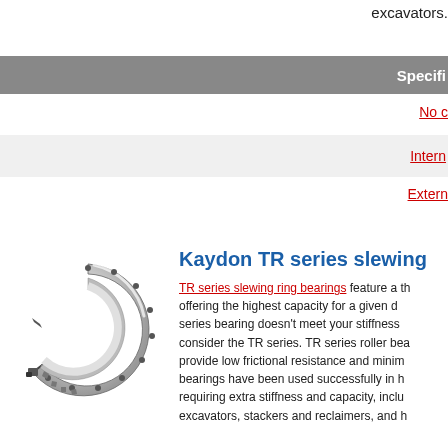excavators.
Specifi
No c
Intern
Extern
Kaydon TR series slewing
TR series slewing ring bearings feature a th offering the highest capacity for a given d series bearing doesn't meet your stiffness consider the TR series. TR series roller bea provide low frictional resistance and minim bearings have been used successfully in h requiring extra stiffness and capacity, inclu excavators, stackers and reclaimers, and h